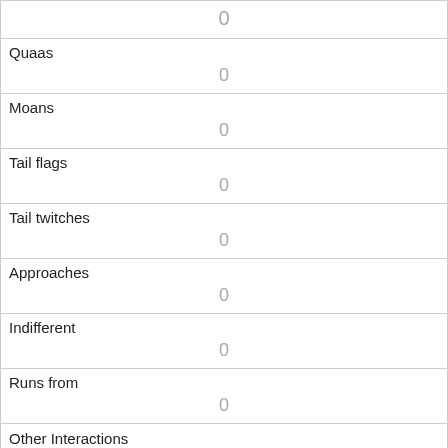| 0 |
| Quaas | 0 |
| Moans | 0 |
| Tail flags | 0 |
| Tail twitches | 0 |
| Approaches | 0 |
| Indifferent | 0 |
| Runs from | 0 |
| Other Interactions |  |
| Lat/Long | POINT (-73.9548431601579 40.7906346271566) |
| Link |  |